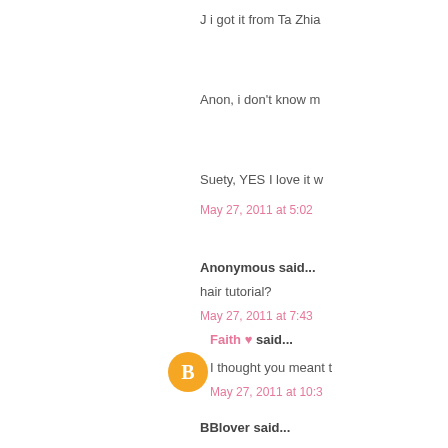J i got it from Ta Zhia
Anon, i don't know m
Suety, YES I love it w
May 27, 2011 at 5:02
Anonymous said...
hair tutorial?
May 27, 2011 at 7:43
[Figure (illustration): Blogger avatar circle orange]
Faith ♥ said...
I thought you meant t
May 27, 2011 at 10:3
BBlover said...
Wow, you can pull off
May 28, 2011 at 9:01